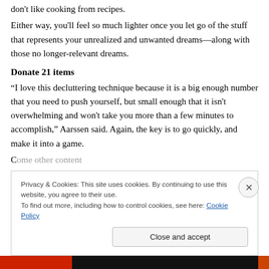don't like cooking from recipes.
Either way, you'll feel so much lighter once you let go of the stuff that represents your unrealized and unwanted dreams—along with those no longer-relevant dreams.
Donate 21 items
“I love this decluttering technique because it is a big enough number that you need to push yourself, but small enough that it isn't overwhelming and won't take you more than a few minutes to accomplish,” Aarssen said. Again, the key is to go quickly, and make it into a game.
С...
Privacy & Cookies: This site uses cookies. By continuing to use this website, you agree to their use. To find out more, including how to control cookies, see here: Cookie Policy